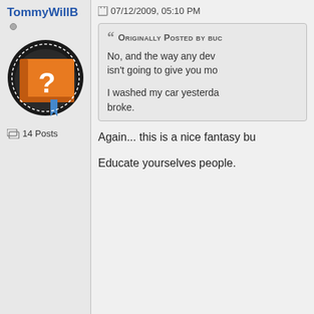TommyWillB
07/12/2009, 05:10 PM
[Figure (photo): Orange book avatar with a white question mark on the cover, on a dark circular background]
14 Posts
Originally Posted by buc
No, and the way any dev isn't going to give you mo
I washed my car yesterday broke.
Again... this is a nice fantasy bu
Educate yourselves people.
starlord II
07/12/2009, 06:37 PM
[Figure (photo): Default grey silhouette avatar placeholder]
This is one of the many problem app. Several times I have oper